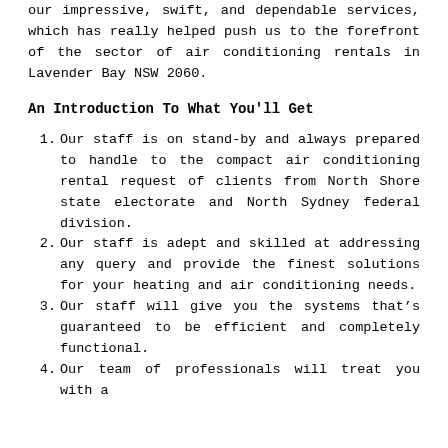our impressive, swift, and dependable services, which has really helped push us to the forefront of the sector of air conditioning rentals in Lavender Bay NSW 2060.
An Introduction To What You'll Get
Our staff is on stand-by and always prepared to handle to the compact air conditioning rental request of clients from North Shore state electorate and North Sydney federal division.
Our staff is adept and skilled at addressing any query and provide the finest solutions for your heating and air conditioning needs.
Our staff will give you the systems that's guaranteed to be efficient and completely functional.
Our team of professionals will treat you with a